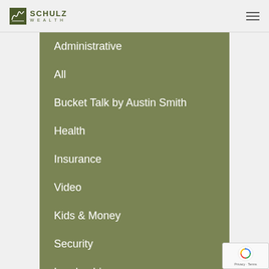Schulz Wealth
Administrative
All
Bucket Talk by Austin Smith
Health
Insurance
Video
Kids & Money
Security
Leadership
Financial Industry Regulation
Retirement/401(k)